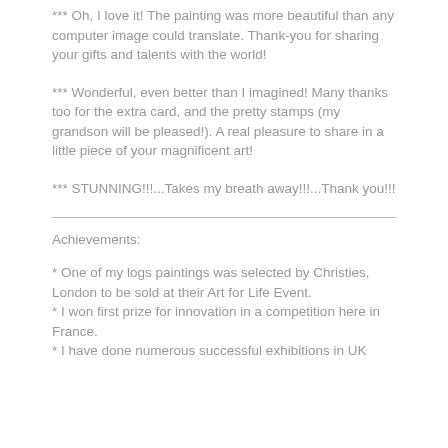*** Oh, I love it! The painting was more beautiful than any computer image could translate. Thank-you for sharing your gifts and talents with the world!
*** Wonderful, even better than I imagined! Many thanks too for the extra card, and the pretty stamps (my grandson will be pleased!). A real pleasure to share in a little piece of your magnificent art!
*** STUNNING!!!...Takes my breath away!!!...Thank you!!!
Achievements:
* One of my logs paintings was selected by Christies, London to be sold at their Art for Life Event.
* I won first prize for innovation in a competition here in France.
* I have done numerous successful exhibitions in UK